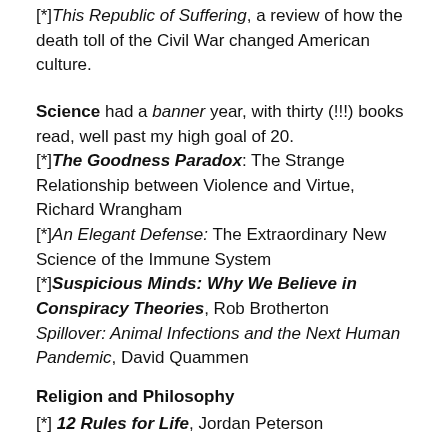[*]This Republic of Suffering, a review of how the death toll of the Civil War changed American culture.
Science had a banner year, with thirty (!!!) books read, well past my high goal of 20.
[*]The Goodness Paradox: The Strange Relationship between Violence and Virtue, Richard Wrangham
[*]An Elegant Defense: The Extraordinary New Science of the Immune System
[*]Suspicious Minds: Why We Believe in Conspiracy Theories, Rob Brotherton
Spillover: Animal Infections and the Next Human Pandemic, David Quammen
Religion and Philosophy
[*] 12 Rules for Life, Jordan Peterson